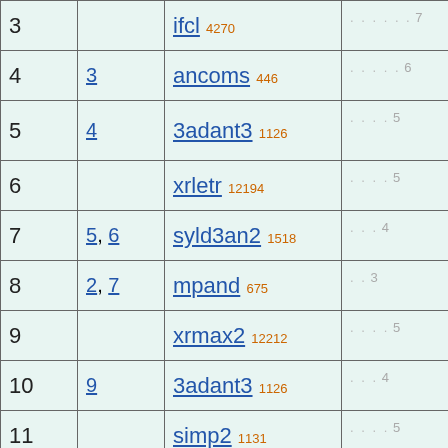| 3 |  | ifcl 4270 | . . . . . . 7 |
| 4 | 3 | ancoms 446 | . . . . . 6 |
| 5 | 4 | 3adant3 1126 | . . . . 5 |
| 6 |  | xrletr 12194 | . . . . 5 |
| 7 | 5, 6 | syld3an2 1518 | . . . 4 |
| 8 | 2, 7 | mpand 675 | . . 3 |
| 9 |  | xrmax2 12212 | . . . . 5 |
| 10 | 9 | 3adant3 1126 | . . . 4 |
| 11 |  | simp2 1131 | . . . . 5 |